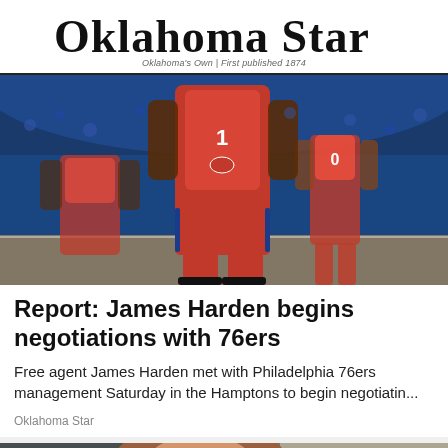Oklahoma Star
Oklahoma's Own | First published 1874
[Figure (photo): Basketball players in red Philadelphia 76ers uniforms on a court with crowd in background. Player wearing #1 jersey is prominent.]
Report: James Harden begins negotiations with 76ers
Free agent James Harden met with Philadelphia 76ers management Saturday in the Hamptons to begin negotiatin...
Oklahoma Star
[Figure (photo): A smiling young man with light brown hair at what appears to be a press conference or indoor event.]